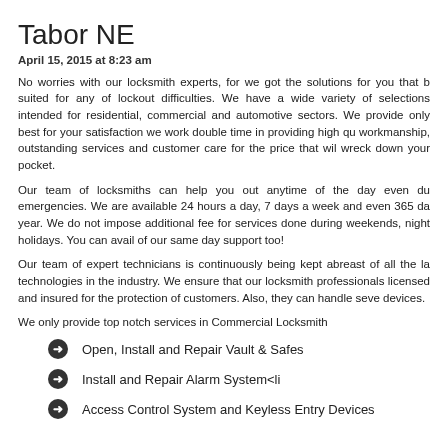Tabor NE
April 15, 2015 at 8:23 am
No worries with our locksmith experts, for we got the solutions for you that b suited for any of lockout difficulties. We have a wide variety of selections intended for residential, commercial and automotive sectors. We provide only best for your satisfaction we work double time in providing high qu workmanship, outstanding services and customer care for the price that wil wreck down your pocket.
Our team of locksmiths can help you out anytime of the day even du emergencies. We are available 24 hours a day, 7 days a week and even 365 da year. We do not impose additional fee for services done during weekends, night holidays. You can avail of our same day support too!
Our team of expert technicians is continuously being kept abreast of all the la technologies in the industry. We ensure that our locksmith professionals licensed and insured for the protection of customers. Also, they can handle seve devices.
We only provide top notch services in Commercial Locksmith
Open, Install and Repair Vault & Safes
Install and Repair Alarm System<li
Access Control System and Keyless Entry Devices